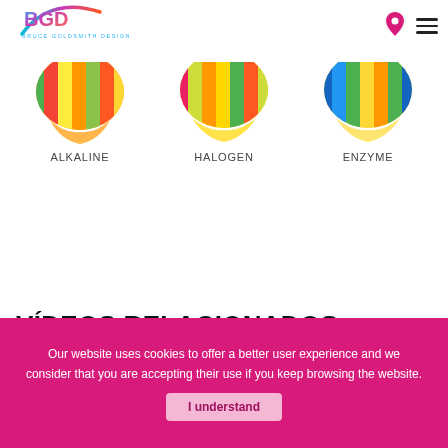[Figure (logo): Bruce Goldsmith Design logo with colorful arc and text]
[Figure (illustration): Colorful paraglider canopy - ALKALINE product]
ALKALINE
[Figure (illustration): Colorful paraglider canopy - HALOGEN product]
HALOGEN
[Figure (illustration): Colorful paraglider canopy - ENZYME product]
ENZYME
VÍDEOS RELACIONADOS
[Figure (photo): Paraglider in cloudy sky, video thumbnail]
Our website uses cookies to offer a better user experience and we consider that you are accepting their use if you keep browsing the website.